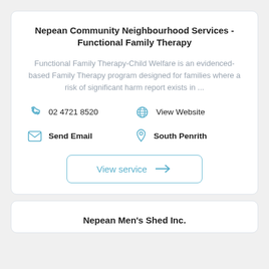Nepean Community Neighbourhood Services - Functional Family Therapy
Functional Family Therapy-Child Welfare is an evidenced-based Family Therapy program designed for families where a risk of significant harm report exists in ...
02 4721 8520
View Website
Send Email
South Penrith
View service →
Nepean Men's Shed Inc.